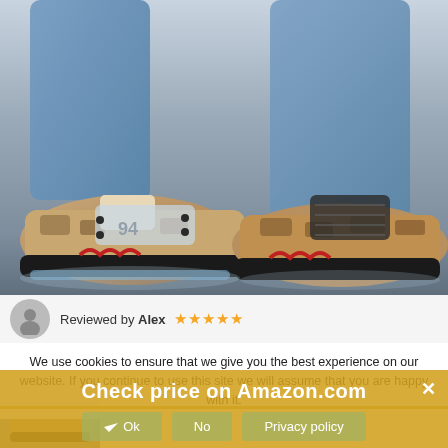[Figure (photo): Close-up photograph of a person wearing Air Jordan 5 Supreme Desert Camo sneakers with jeans, standing on a reflective wet surface]
Reviewed by Alex ★★★★★
We use cookies to ensure that we give you the best experience on our website. If you continue to use this site we will assume that you are happy with it.
Check price on Amazon.com
Ok   No   Privacy policy